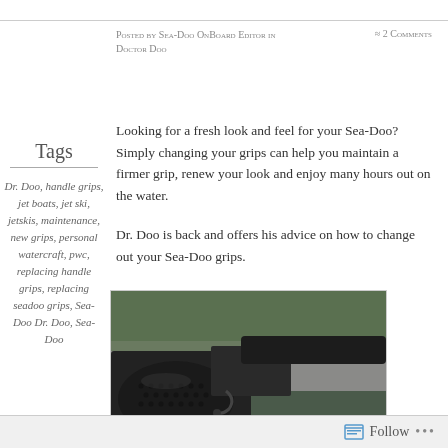Posted by Sea-Doo OnBoard Editor in Doctor Doo   ≈ 2 Comments
Tags
Dr. Doo, handle grips, jet boats, jet ski, jetskis, maintenance, new grips, personal watercraft, pwc, replacing handle grips, replacing seadoo grips, Sea-Doo Dr. Doo, Sea-Doo
Looking for a fresh look and feel for your Sea-Doo?  Simply changing your grips can help you maintain a firmer grip, renew your look and enjoy many hours out on the water.
Dr. Doo is back and offers his advice on how to change out your Sea-Doo grips.
[Figure (photo): Close-up photo of a black Sea-Doo handlebar grip on a watercraft with red and white coloring visible in the background]